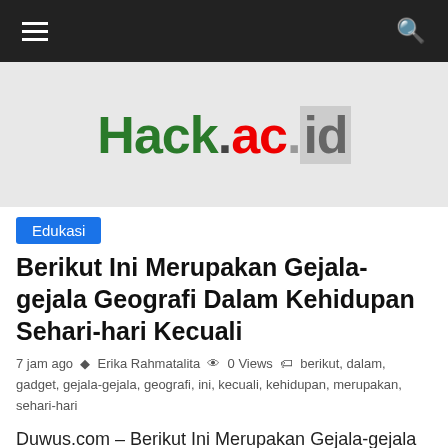Navigation bar with hamburger menu and search icon
[Figure (logo): Hack.ac.id logo on grey background]
Edukasi
Berikut Ini Merupakan Gejala-gejala Geografi Dalam Kehidupan Sehari-hari Kecuali
7 jam ago  Erika Rahmatalita  0 Views  berikut, dalam, gadget, gejala-gejala, geografi, ini, kecuali, kehidupan, merupakan, sehari-hari
Duwus.com – Berikut Ini Merupakan Gejala-gejala Geografi Dalam Kehidupan Sehari-hari Kecuali Berikut ini yakni gejala-gejala geografi